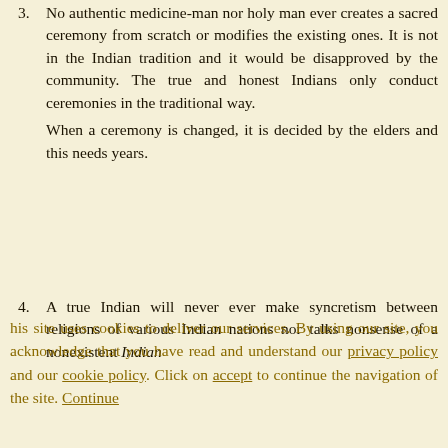3. No authentic medicine-man nor holy man ever creates a sacred ceremony from scratch or modifies the existing ones. It is not in the Indian tradition and it would be disapproved by the community. The true and honest Indians only conduct ceremonies in the traditional way. When a ceremony is changed, it is decided by the elders and this needs years.
4. A true Indian will never ever make syncretism between religions of various Indian nations nor talks nonsense of a nonexistent Indian
his site uses cookies to deliver our services. By using our site, you acknowledge that you have read and understand our privacy policy and our cookie policy. Click on accept to continue the navigation of the site. Continue